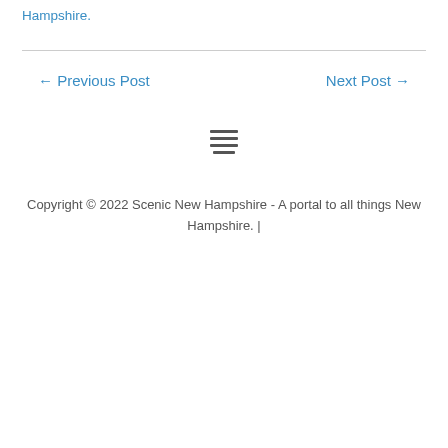Hampshire.
← Previous Post
Next Post →
[Figure (other): Hamburger menu icon with three horizontal lines]
Copyright © 2022 Scenic New Hampshire - A portal to all things New Hampshire. |